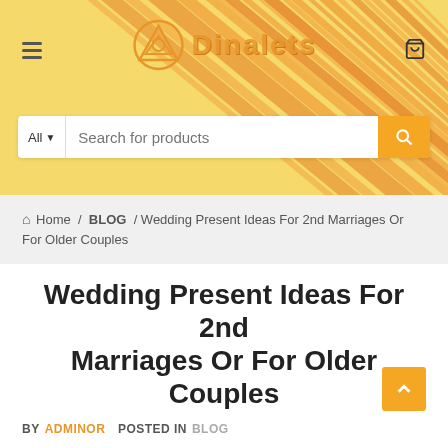[Figure (screenshot): Website header banner with yellow background, orange diagonal stripe pattern, hamburger menu icon, cart icon, logo reading 'Dinalets' with circular emblem, and search bar with 'All' dropdown and 'Search for products' placeholder, and orange search button]
Home / BLOG / Wedding Present Ideas For 2nd Marriages Or For Older Couples
Wedding Present Ideas For 2nd Marriages Or For Older Couples
BY ADMINOR   POSTED IN BLOG
I like sharing thoughts for significant and precise gifts for